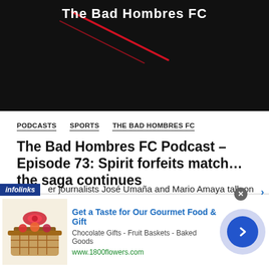[Figure (illustration): The Bad Hombres FC podcast header image with white text on black background and red swoosh graphic]
PODCASTS  SPORTS  THE BAD HOMBRES FC
The Bad Hombres FC Podcast – Episode 73: Spirit forfeits match…the saga continues
The Sports Pulse • September 13, 2021
Tune in for The Bad Hombres Podcast every week as [soccer] journalists José Umaña and Mario Amaya talk on
[Figure (infographic): infolinks advertisement overlay for 1800flowers.com: Get a Taste for Our Gourmet Food & Gift - Chocolate Gifts - Fruit Baskets - Baked Goods - www.1800flowers.com]